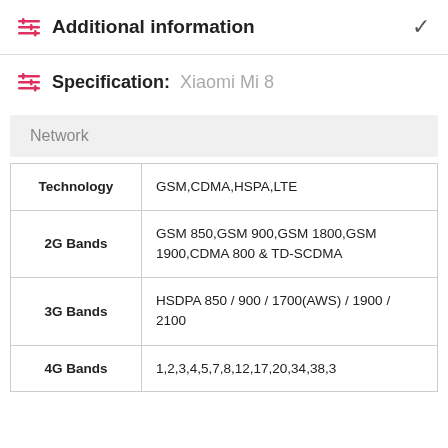Additional information
Specification: Xiaomi Mi 8
Network
|  |  |
| --- | --- |
| Technology | GSM,CDMA,HSPA,LTE |
| 2G Bands | GSM 850,GSM 900,GSM 1800,GSM 1900,CDMA 800 & TD-SCDMA |
| 3G Bands | HSDPA 850 / 900 / 1700(AWS) / 1900 / 2100 |
| 4G Bands | 1,2,3,4,5,7,8,12,17,20,34,38,3 |